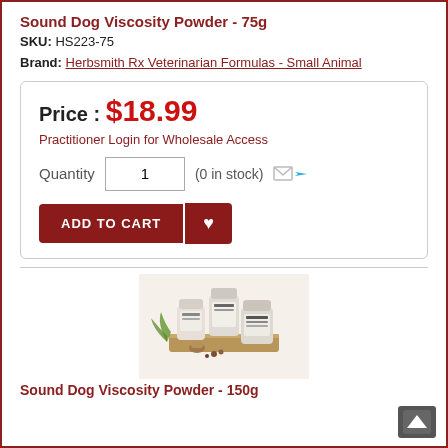Sound Dog Viscosity Powder - 75g
SKU: HS223-75
Brand: Herbsmith Rx Veterinarian Formulas - Small Animal
Price : $18.99
Practitioner Login for Wholesale Access
Quantity  1  (0 in stock)
ADD TO CART ♥
[Figure (photo): Product photo showing multiple small jars of Sound Dog Viscosity Powder arranged on a wooden surface with herbs]
Sound Dog Viscosity Powder - 150g